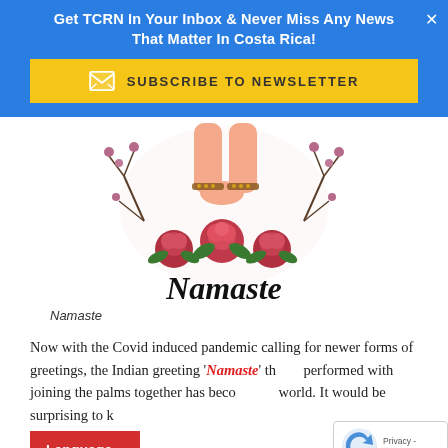Get TCRN In Your Inbox & Never Miss Any News That Matter In Costa Rica!
SUBSCRIBE TO NEWSLETTER
[Figure (illustration): Illustration of clasped hands with anklets and roses, with 'Namaste' written in cursive below]
Namaste
Now with the Covid induced pandemic calling for newer forms of greetings, the Indian greeting 'Namaste' that is performed with joining the palms together has become world. It would be surprising to know that this greeting has been in vogue in India since